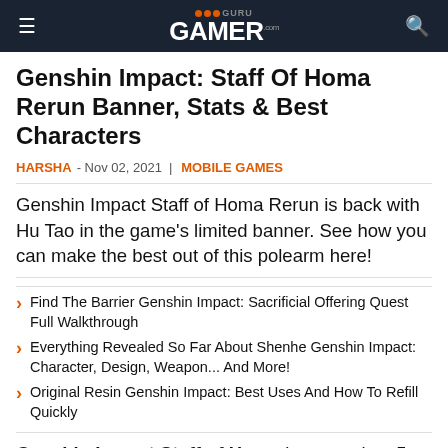GuruGamer.com
Genshin Impact: Staff Of Homa Rerun Banner, Stats & Best Characters
HARSHA - Nov 02, 2021 | MOBILE GAMES
Genshin Impact Staff of Homa Rerun is back with Hu Tao in the game's limited banner. See how you can make the best out of this polearm here!
Find The Barrier Genshin Impact: Sacrificial Offering Quest Full Walkthrough
Everything Revealed So Far About Shenhe Genshin Impact: Character, Design, Weapon... And More!
Original Resin Genshin Impact: Best Uses And How To Refill Quickly
Genshin Impact Staff of Homa is a premium 5-star weapon that players can pull for. However, not like other 5-stars in the game, the only way to own it is via limited